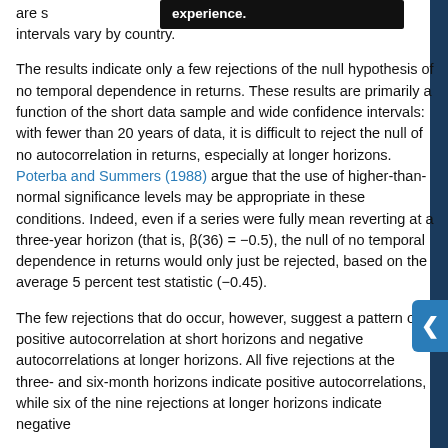experience.
are s[truncated] intervals vary by country.
The results indicate only a few rejections of the null hypothesis of no temporal dependence in returns. These results are primarily a function of the short data sample and wide confidence intervals: with fewer than 20 years of data, it is difficult to reject the null of no autocorrelation in returns, especially at longer horizons. Poterba and Summers (1988) argue that the use of higher-than-normal significance levels may be appropriate in these conditions. Indeed, even if a series were fully mean reverting at a three-year horizon (that is, β(36) = −0.5), the null of no temporal dependence in returns would only just be rejected, based on the average 5 percent test statistic (−0.45).
The few rejections that do occur, however, suggest a pattern of positive autocorrelation at short horizons and negative autocorrelations at longer horizons. All five rejections at the three- and six-month horizons indicate positive autocorrelations, while six of the nine rejections at longer horizons indicate negative